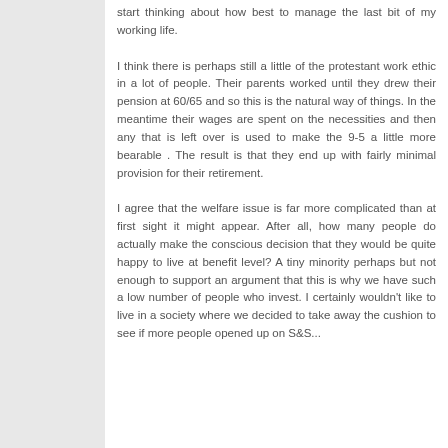start thinking about how best to manage the last bit of my working life.
I think there is perhaps still a little of the protestant work ethic in a lot of people. Their parents worked until they drew their pension at 60/65 and so this is the natural way of things. In the meantime their wages are spent on the necessities and then any that is left over is used to make the 9-5 a little more bearable . The result is that they end up with fairly minimal provision for their retirement.
I agree that the welfare issue is far more complicated than at first sight it might appear. After all, how many people do actually make the conscious decision that they would be quite happy to live at benefit level? A tiny minority perhaps but not enough to support an argument that this is why we have such a low number of people who invest. I certainly wouldn't like to live in a society where we decided to take away the cushion to see if more people opened up on S&S...